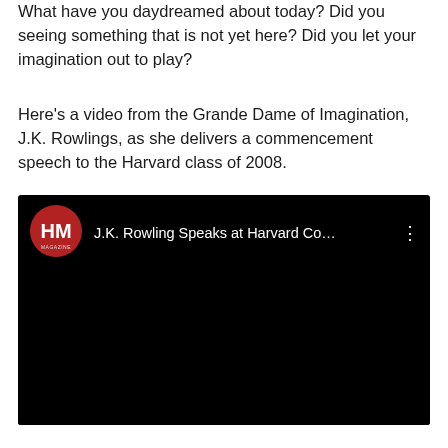What have you daydreamed about today? Did you seeing something that is not yet here? Did you let your imagination out to play?
Here's a video from the Grande Dame of Imagination, J.K. Rowlings, as she delivers a commencement speech to the Harvard class of 2008.
[Figure (screenshot): YouTube video thumbnail showing 'J.K. Rowling Speaks at Harvard Co...' with Harvard Magazine (HM) logo on a black background.]